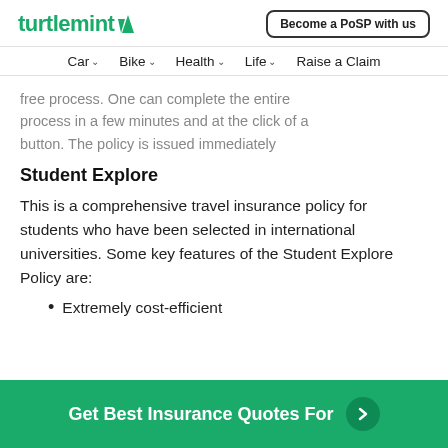turtlemint | Become a PoSP with us
Car  Bike  Health  Life  Raise a Claim
free process. One can complete the entire process in a few minutes and at the click of a button. The policy is issued immediately
Student Explore
This is a comprehensive travel insurance policy for students who have been selected in international universities. Some key features of the Student Explore Policy are:
Extremely cost-efficient
Get Best Insurance Quotes For  >